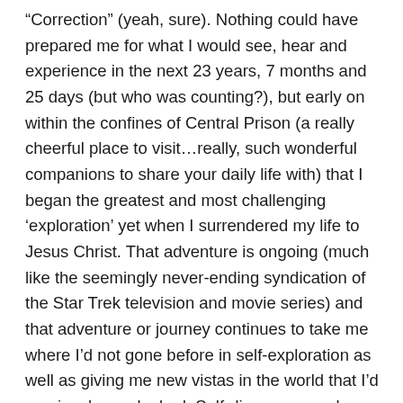“Correction” (yeah, sure). Nothing could have prepared me for what I would see, hear and experience in the next 23 years, 7 months and 25 days (but who was counting?), but early on within the confines of Central Prison (a really cheerful place to visit…really, such wonderful companions to share your daily life with) that I began the greatest and most challenging ‘exploration’ yet when I surrendered my life to Jesus Christ. That adventure is ongoing (much like the seemingly never-ending syndication of the Star Trek television and movie series) and that adventure or journey continues to take me where I’d not gone before in self-exploration as well as giving me new vistas in the world that I’d previously overlooked. Self-discovery can be as terrifying as anything I’ve experienced, but it is a journey that, once embarked upon, cannot be stopped. Yesterday I began yet another journey of exploration, this